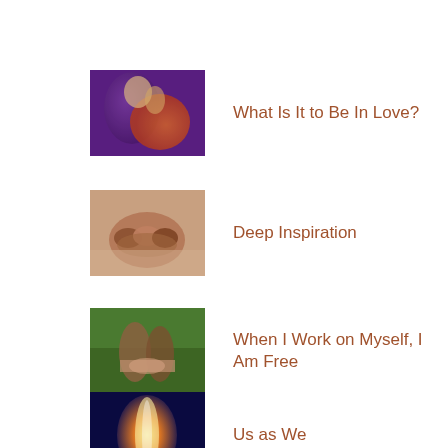[Figure (photo): Colorful painting/illustration of two figures embracing, purple and orange tones]
What Is It to Be In Love?
[Figure (photo): Photo of multiple hands joined together, holding hands in a circle]
Deep Inspiration
[Figure (photo): Photo of two people holding hands outdoors, green background]
When I Work on Myself, I Am Free
[Figure (photo): Glowing chakra/energy body illustration, orange and yellow tones]
Us as We